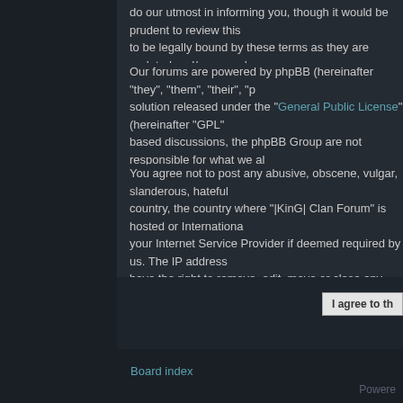do our utmost in informing you, though it would be prudent to review this to be legally bound by these terms as they are updated and/or amended
Our forums are powered by phpBB (hereinafter "they", "them", "their", "p solution released under the "General Public License" (hereinafter "GPL") based discussions, the phpBB Group are not responsible for what we al please see: https://www.phpbb.com/.
You agree not to post any abusive, obscene, vulgar, slanderous, hateful country, the country where "|KinG| Clan Forum" is hosted or Internationa your Internet Service Provider if deemed required by us. The IP address have the right to remove, edit, move or close any topic at any time shou database. While this information will not be disclosed to any third party w hacking attempt that may lead to the data being compromised.
I agree to th
Board index
Powere